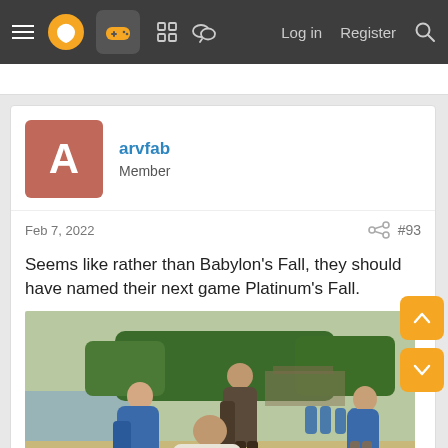Navigation bar with menu, logo, gamepad icon, grid icon, chat icon, Log in, Register, Search
arvfab
Member
Feb 7, 2022  #93
Seems like rather than Babylon's Fall, they should have named their next game Platinum's Fall.
[Figure (photo): A scene with samurai/feudal Japanese figures in traditional blue and grey robes, standing outdoors near water and trees. One figure in white kneels in the foreground.]